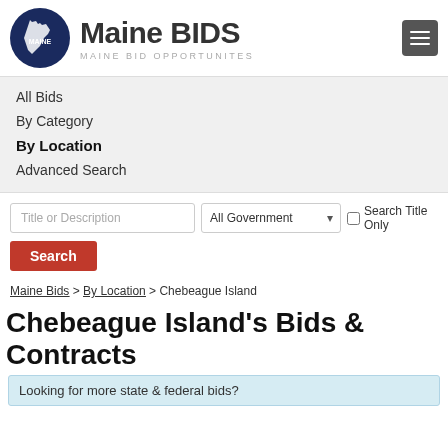[Figure (logo): Maine BIDS logo with circular Maine state map icon and text 'Maine BIDS / MAINE BID OPPORTUNITES']
All Bids
By Category
By Location
Advanced Search
Title or Description [input] All Government [dropdown] Search Title Only [checkbox]
Search [button]
Maine Bids > By Location > Chebeague Island
Chebeague Island's Bids & Contracts
Looking for more state & federal bids?